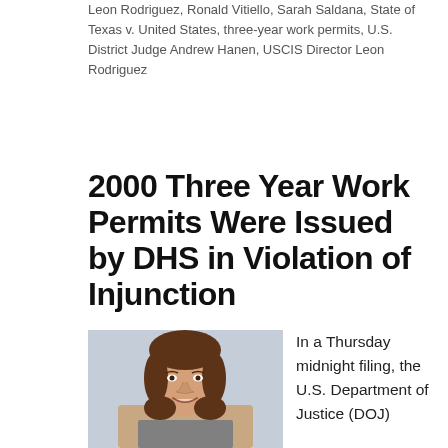Leon Rodriguez, Ronald Vitiello, Sarah Saldana, State of Texas v. United States, three-year work permits, U.S. District Judge Andrew Hanen, USCIS Director Leon Rodriguez
2000 Three Year Work Permits Were Issued by DHS in Violation of Injunction
[Figure (photo): Photo of a woman with brown shoulder-length hair, smiling, against a light gray background]
In a Thursday midnight filing, the U.S. Department of Justice (DOJ)